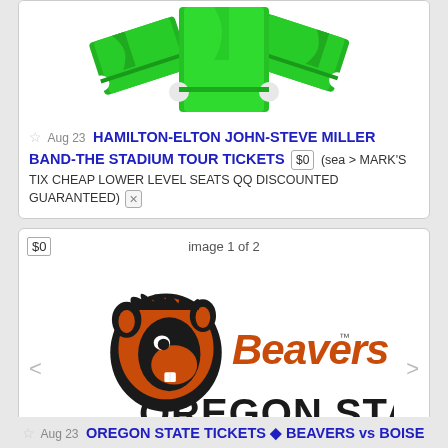[Figure (photo): Green tickets/ribbon graphic at top of first listing card]
Aug 23 HAMILTON-ELTON JOHN-STEVE MILLER BAND-THE STADIUM TOUR TICKETS $0 (sea > MARK'S TIX CHEAP LOWER LEVEL SEATS QQ DISCOUNTED GUARANTEED)
image 1 of 2
[Figure (logo): Oregon State Beavers logo with beaver mascot, 'Beavers' text in orange script, 'OREGON STATE.' in large bold dark letters, and CheapSeats Online.com ticket badge below]
Aug 23 OREGON STATE TICKETS ◆ BEAVERS vs BOISE